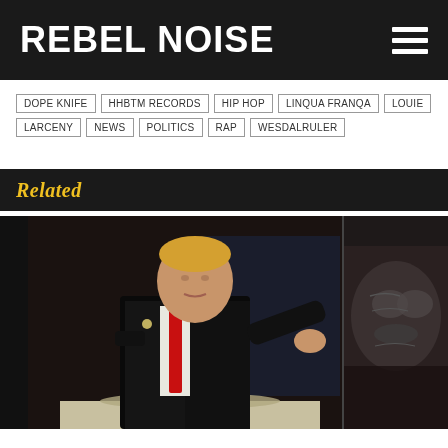REBEL NOISE
DOPE KNIFE
HHBTM RECORDS
HIP HOP
LINQUA FRANQA
LOUIE LARCENY
NEWS
POLITICS
RAP
WESDALRULER
Related
[Figure (photo): A man in a dark suit with a red tie gesturing at a podium, and a close-up black and white photo on the right side]